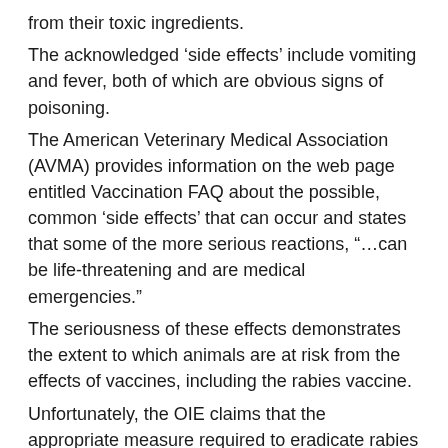from their toxic ingredients.
The acknowledged ‘side effects’ include vomiting and fever, both of which are obvious signs of poisoning.
The American Veterinary Medical Association (AVMA) provides information on the web page entitled Vaccination FAQ about the possible, common ‘side effects’ that can occur and states that some of the more serious reactions, “…can be life-threatening and are medical emergencies.”
The seriousness of these effects demonstrates the extent to which animals are at risk from the effects of vaccines, including the rabies vaccine.
Unfortunately, the OIE claims that the appropriate measure required to eradicate rabies is to, “Vaccinate at least 70% of dogs.”
Although rabies is mainly claimed to be transmitted via a dog bite, other animals are also implicated as vectors that are able to transmit the ‘virus’ alleged to cause